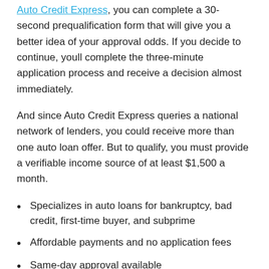Auto Credit Express, you can complete a 30-second prequalification form that will give you a better idea of your approval odds. If you decide to continue, youll complete the three-minute application process and receive a decision almost immediately.
And since Auto Credit Express queries a national network of lenders, you could receive more than one auto loan offer. But to qualify, you must provide a verifiable income source of at least $1,500 a month.
Specializes in auto loans for bankruptcy, bad credit, first-time buyer, and subprime
Affordable payments and no application fees
Same-day approval available
| 3 minutes | 9.0/10 |
| --- | --- |